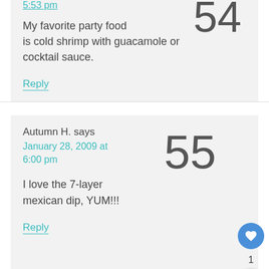5:53 pm
54
My favorite party food is cold shrimp with guacamole or cocktail sauce.
Reply
Autumn H. says
January 28, 2009 at 6:00 pm
55
I love the 7-layer mexican dip, YUM!!!
Reply
1